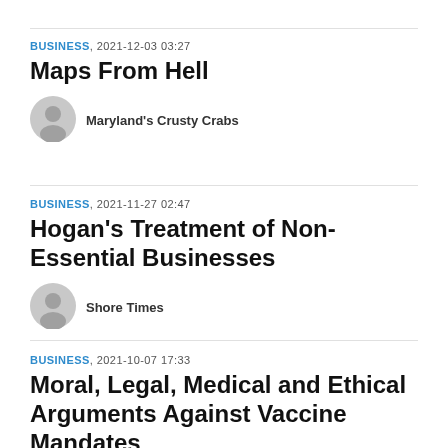BUSINESS, 2021-12-03 03:27
Maps From Hell
Maryland's Crusty Crabs
BUSINESS, 2021-11-27 02:47
Hogan's Treatment of Non-Essential Businesses
Shore Times
BUSINESS, 2021-10-07 17:33
Moral, Legal, Medical and Ethical Arguments Against Vaccine Mandates